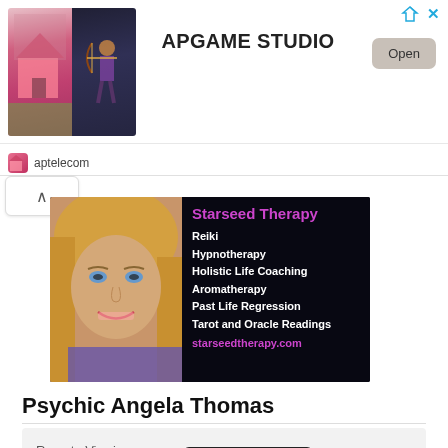[Figure (screenshot): App store advertisement banner for APGAME STUDIO showing game images on left, title in center, and Open button on right]
aptelecom
[Figure (photo): Starseed Therapy advertisement showing a blonde woman smiling and text listing services: Reiki, Hypnotherapy, Holistic Life Coaching, Aromatherapy, Past Life Regression, Tarot and Oracle Readings, starseedtherapy.com]
Psychic Angela Thomas
[Figure (screenshot): Card showing Remote Viewing & Criminal Casework: Tracking Missing Persons with device mockup images]